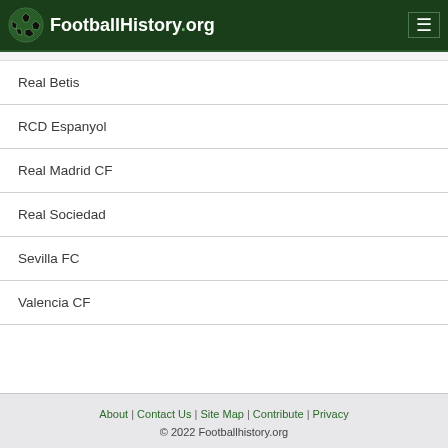FootballHistory.org
Real Betis
RCD Espanyol
Real Madrid CF
Real Sociedad
Sevilla FC
Valencia CF
About | Contact Us | Site Map | Contribute | Privacy
© 2022 Footballhistory.org